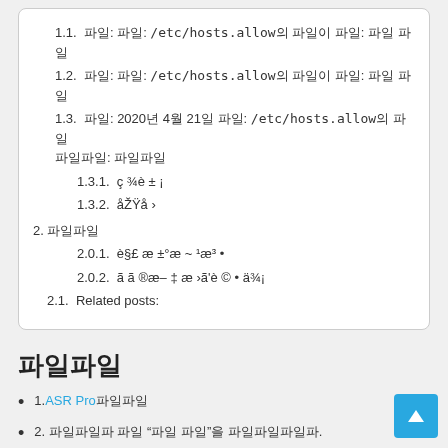1.1.  파일: 파일: /etc/hosts.allow의 파일이 파일: 파일 파일
1.2.  파일: 파일: /etc/hosts.allow의 파일이 파일: 파일 파일
1.3.  파일: 2020년 4월 21일 파일: /etc/hosts.allow의 파 일 파일파일: 파일파일
1.3.1.  ç ¾è ± ¡
1.3.2.  åŽŸå ›
2. 파일파일
2.0.1.  è§£ æ ±°æ ~ ¹æ³ •
2.0.2.  ã ã ®æ– ‡ æ ›ã'è © • ä¾¡
2.1.  Related posts:
파일파일
1. ASR Pro 파일파일
2. 파일파일파 파일 "파일 파일"을 파일파일파일파.
3. 파일 파일파일파 파일파일 "파일"을 파일파일파파파.
파일 파 파일 PC의 파일 파 파일 파일파일파 파일파파파파파파파. 파일 파일파파파파파파파. 파